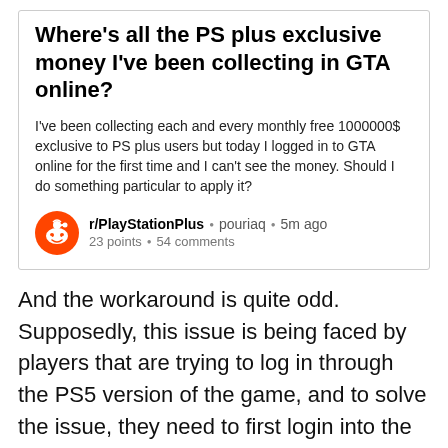Where's all the PS plus exclusive money I've been collecting in GTA online?
I've been collecting each and every monthly free 1000000$ exclusive to PS plus users but today I logged in to GTA online for the first time and I can't see the money. Should I do something particular to apply it?
r/PlayStationPlus • pouriaq • 5m ago
23 points • 54 comments
And the workaround is quite odd. Supposedly, this issue is being faced by players that are trying to log in through the PS5 version of the game, and to solve the issue, they need to first login into the PS4 version and then import their